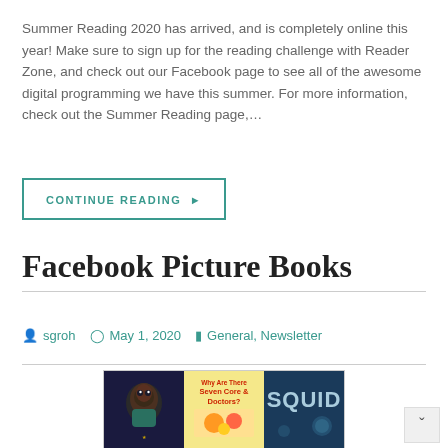Summer Reading 2020 has arrived, and is completely online this year! Make sure to sign up for the reading challenge with Reader Zone, and check out our Facebook page to see all of the awesome digital programming we have this summer. For more information, check out the Summer Reading page,…
CONTINUE READING ▶
Facebook Picture Books
sgroh   May 1, 2020   General, Newsletter
[Figure (photo): Collage of picture book covers including one with a child looking up, one with text about doctors, and one showing the word SQUID]